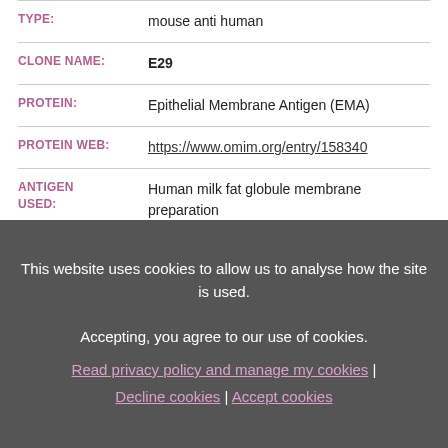| TYPE: | mouse anti human |
| CLONE NAME: | E29 |
| PROTEIN: | Epithelial Membrane Antigen (EMA) |
| PROTEIN WEB: | https://www.omim.org/entry/158340 |
| ANTIGEN USED: | Human milk fat globule membrane preparation |
| FUSION | P3/NS1/1-Ag4-1 |
This website uses cookies to allow us to analyse how the site is used.
Accepting, you agree to our use of cookies.
Read privacy policy and manage my cookies | Decline cookies | Accept cookies